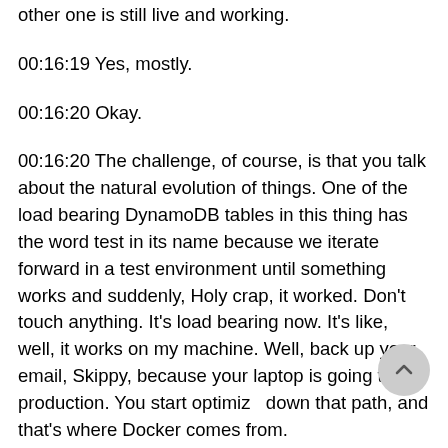other one is still live and working.
00:16:19 Yes, mostly.
00:16:20 Okay.
00:16:20 The challenge, of course, is that you talk about the natural evolution of things. One of the load bearing DynamoDB tables in this thing has the word test in its name because we iterate forward in a test environment until something works and suddenly, Holy crap, it worked. Don't touch anything. It's load bearing now. It's like, well, it works on my machine. Well, back up your email, Skippy, because your laptop is going to production. You start optimiz... down that path, and that's where Docker comes from.